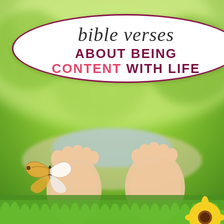[Figure (photo): Outdoor scene with green bokeh background showing a child lying in grass with feet in foreground. A butterfly rests on one foot. A yellow daisy flower is visible in the bottom right corner.]
bible verses ABOUT BEING CONTENT WITH LIFE